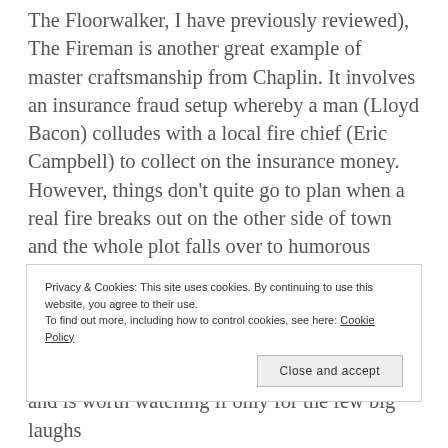The Floorwalker, I have previously reviewed), The Fireman is another great example of master craftsmanship from Chaplin. It involves an insurance fraud setup whereby a man (Lloyd Bacon) colludes with a local fire chief (Eric Campbell) to collect on the insurance money. However, things don't quite go to plan when a real fire breaks out on the other side of town and the whole plot falls over to humorous results. Chaplin plays a fire engine driver who fails at everything he is involved with and this character is the source of most of the humour, especially in his interactions with the fire chief, played by the brilliant
Privacy & Cookies: This site uses cookies. By continuing to use this website, you agree to their use.
To find out more, including how to control cookies, see here: Cookie Policy
Close and accept
and is worth watching if only for the few big laughs